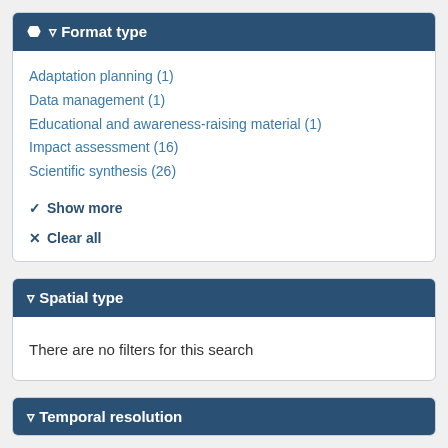Format type
Adaptation planning (1)
Data management (1)
Educational and awareness-raising material (1)
Impact assessment (16)
Scientific synthesis (26)
Show more
Clear all
Spatial type
There are no filters for this search
Temporal resolution